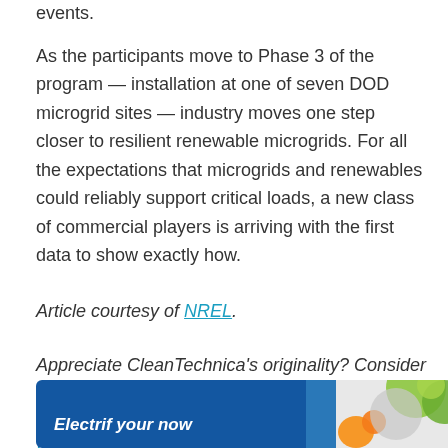events.
As the participants move to Phase 3 of the program — installation at one of seven DOD microgrid sites — industry moves one step closer to resilient renewable microgrids. For all the expectations that microgrids and renewables could reliably support critical loads, a new class of commercial players is arriving with the first data to show exactly how.
Article courtesy of NREL.
Appreciate CleanTechnica's originality? Consider becoming a CleanTechnica Member, Supporter, Technician, or Ambassador — or a patron on Patreon.
[Figure (infographic): Blue banner advertisement at bottom of page with text 'Electrif your now' and decorative green/orange circular graphic elements on the right side.]